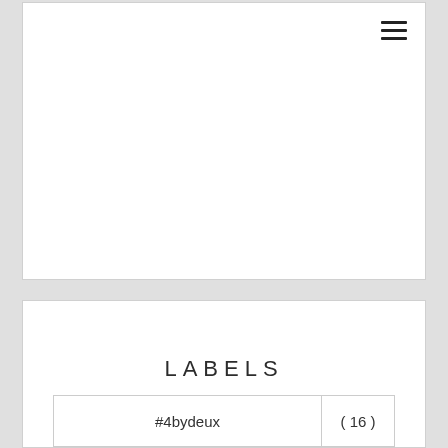[Figure (other): White card panel with hamburger menu icon in top-right corner]
LABELS
|  |  |
| --- | --- |
| #4bydeux | ( 16 ) |